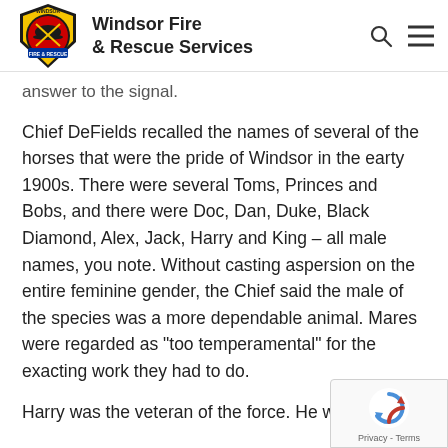Windsor Fire & Rescue Services
answer to the signal.
Chief DeFields recalled the names of several of the horses that were the pride of Windsor in the earty 1900s. There were several Toms, Princes and Bobs, and there were Doc, Dan, Duke, Black Diamond, Alex, Jack, Harry and King – all male names, you note. Without casting aspersion on the entire feminine gender, the Chief said the male of the species was a more dependable animal. Mares were regarded as “too temperamental” for the exacting work they had to do.
Harry was the veteran of the force. He was